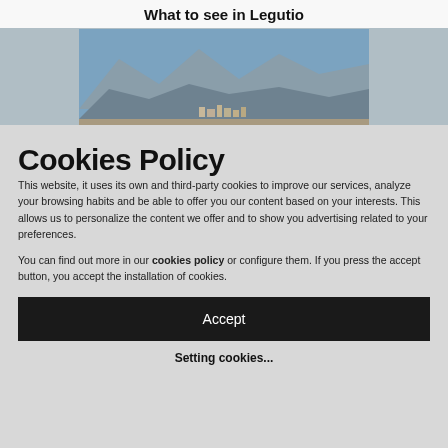What to see in Legutio
[Figure (photo): Landscape photo showing a mountain range with a town or settlement visible in the foreground, under a blue sky.]
Cookies Policy
This website, it uses its own and third-party cookies to improve our services, analyze your browsing habits and be able to offer you our content based on your interests. This allows us to personalize the content we offer and to show you advertising related to your preferences.
You can find out more in our cookies policy or configure them. If you press the accept button, you accept the installation of cookies.
Accept
Setting cookies...